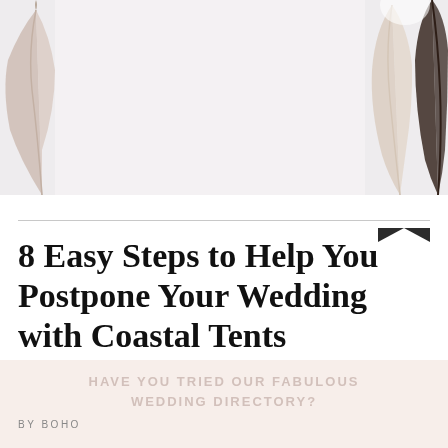[Figure (photo): Decorative feathers on light gray/white background — feathers visible on left edge and right side of image]
8 Easy Steps to Help You Postpone Your Wedding with Coastal Tents
HAVE YOU TRIED OUR FABULOUS WEDDING DIRECTORY?
BY BOHO